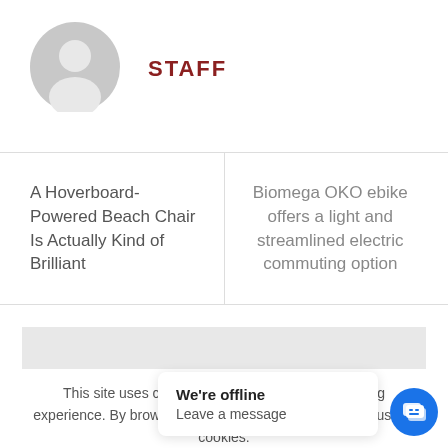[Figure (illustration): Gray default user avatar/profile circle icon]
STAFF
A Hoverboard-Powered Beach Chair Is Actually Kind of Brilliant
Biomega OKO ebike offers a light and streamlined electric commuting option
This site uses cookies to offer you a better browsing experience. By browsing this website, you agree to our use of cookies.
We're offline
Leave a message